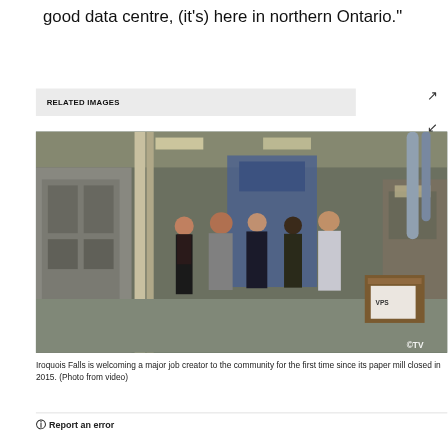good data centre, (it's) here in northern Ontario."
RELATED IMAGES
[Figure (photo): Five people standing inside an industrial facility, possibly a former paper mill or data centre building. Industrial equipment, pipes, and machinery visible in the background. CTV watermark in bottom right corner.]
Iroquois Falls is welcoming a major job creator to the community for the first time since its paper mill closed in 2015. (Photo from video)
Report an error